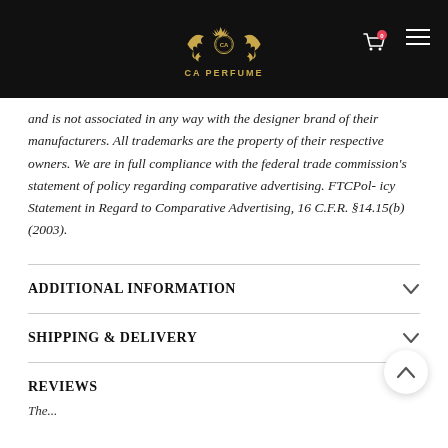CA PERFUME
and is not associated in any way with the designer brand of their manufacturers. All trademarks are the property of their respective owners. We are in full compliance with the federal trade commission's statement of policy regarding comparative advertising. FTCPol- icy Statement in Regard to Comparative Advertising, 16 C.F.R. §14.15(b) (2003).
ADDITIONAL INFORMATION
SHIPPING & DELIVERY
REVIEWS
The...